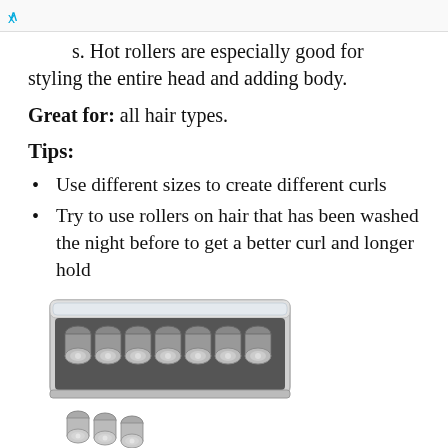x
s. Hot rollers are especially good for styling the entire head and adding body.
Great for: all hair types.
Tips:
Use different sizes to create different curls
Try to use rollers on hair that has been washed the night before to get a better curl and longer hold
[Figure (photo): A set of hot rollers in a rectangular heating case with multiple cylindrical rollers, some placed outside the case beside it.]